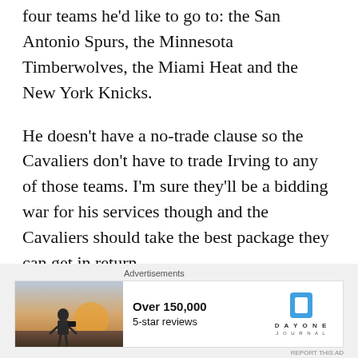four teams he'd like to go to: the San Antonio Spurs, the Minnesota Timberwolves, the Miami Heat and the New York Knicks.
He doesn't have a no-trade clause so the Cavaliers don't have to trade Irving to any of those teams. I'm sure they'll be a bidding war for his services though and the Cavaliers should take the best package they can get in return.
[Figure (other): Advertisement banner featuring a person photographing a sunset, with text 'Over 150,000 5-star reviews' and Day One Journal logo]